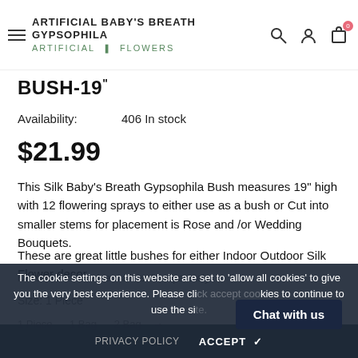ARTIFICIAL BABY'S BREATH GYPSOPHILA ARTIFICIAL FLOWERS
BUSH-19"
Availability: 406 In stock
$21.99
This Silk Baby's Breath Gypsophila Bush measures 19" high with 12 flowering sprays to either use as a bush or Cut into smaller stems for placement is Rose and /or Wedding Bouquets.
These are great little bushes for either Indoor Outdoor Silk Flower decor.
Decorators containers are sold separately.
Size: 1 Piece
1 Piece    1 Bag    2 Bag
The cookie settings on this website are set to 'allow all cookies' to give you the very best experience. Please click accept cookies to continue to use the site.
PRIVACY POLICY    ACCEPT ✔
Chat with us